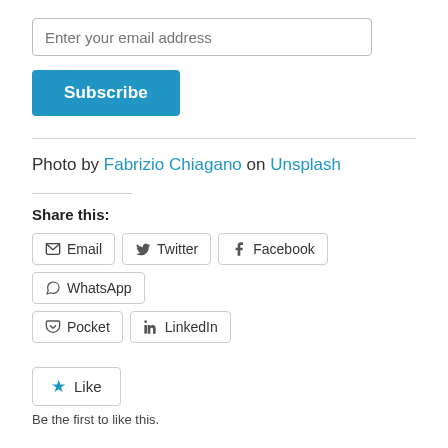Enter your email address
Subscribe
Photo by Fabrizio Chiagano on Unsplash
Share this:
Email
Twitter
Facebook
WhatsApp
Pocket
LinkedIn
Like
Be the first to like this.